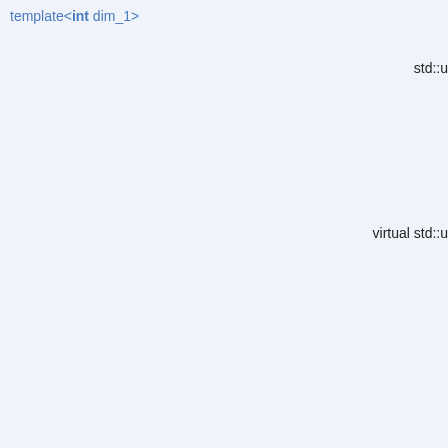template<int dim_1>
std::u
virtual std::u
virtual std::u
virtual std::u